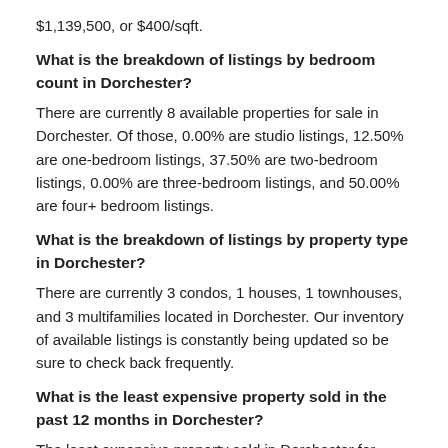$1,139,500, or $400/sqft.
What is the breakdown of listings by bedroom count in Dorchester?
There are currently 8 available properties for sale in Dorchester. Of those, 0.00% are studio listings, 12.50% are one-bedroom listings, 37.50% are two-bedroom listings, 0.00% are three-bedroom listings, and 50.00% are four+ bedroom listings.
What is the breakdown of listings by property type in Dorchester?
There are currently 3 condos, 1 houses, 1 townhouses, and 3 multifamilies located in Dorchester. Our inventory of available listings is constantly being updated so be sure to check back frequently.
What is the least expensive property sold in the past 12 months in Dorchester?
The least expensive property sold in Dorchester for $269,900.
Now, what is the most expensive property sold in the past 12